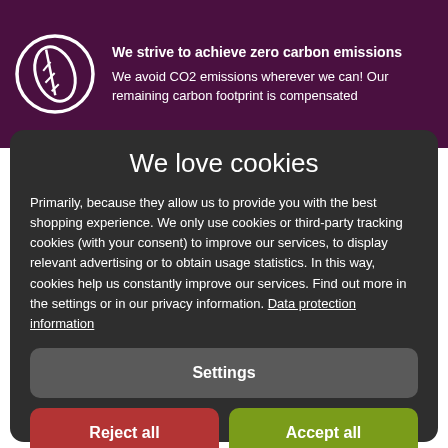We strive to achieve zero carbon emissions
We avoid CO2 emissions wherever we can! Our remaining carbon footprint is compensated
We love cookies
Primarily, because they allow us to provide you with the best shopping experience. We only use cookies or third-party tracking cookies (with your consent) to improve our services, to display relevant advertising or to obtain usage statistics. In this way, cookies help us constantly improve our services. Find out more in the settings or in our privacy information. Data protection information
Settings
Reject all
Accept all